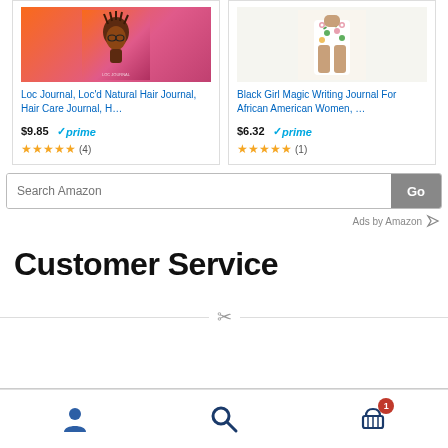[Figure (screenshot): Amazon product cards showing two journal products with prices, Prime badges, and star ratings]
Loc Journal, Loc'd Natural Hair Journal, Hair Care Journal, H…
$9.85 prime (4) stars
Black Girl Magic Writing Journal For African American Women, …
$6.32 prime (1) star
Search Amazon
Ads by Amazon
Customer Service
[Figure (illustration): Scissors/cut divider icon with horizontal line]